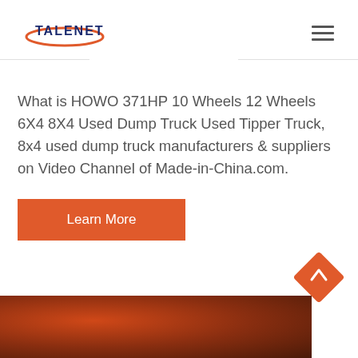TALENET
What is HOWO 371HP 10 Wheels 12 Wheels 6X4 8X4 Used Dump Truck Used Tipper Truck, 8x4 used dump truck manufacturers & suppliers on Video Channel of Made-in-China.com.
Learn More
[Figure (photo): Bottom portion of a red/orange dump truck cab, partially visible at the bottom of the page]